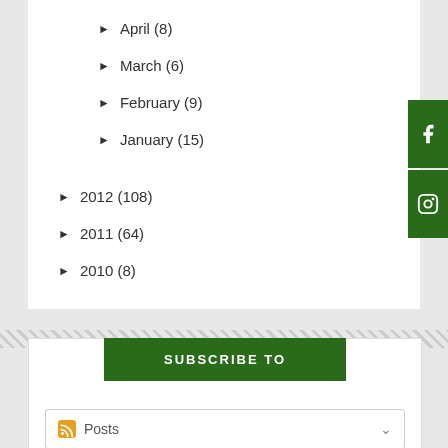► April (8)
► March (6)
► February (9)
► January (15)
► 2012 (108)
► 2011 (64)
► 2010 (8)
SUBSCRIBE TO
Posts
Comments